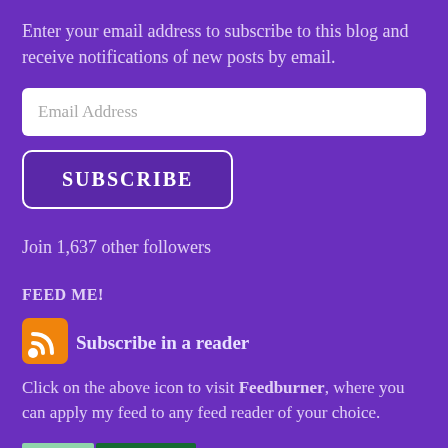Enter your email address to subscribe to this blog and receive notifications of new posts by email.
Email Address
SUBSCRIBE
Join 1,637 other followers
FEED ME!
[Figure (logo): Orange RSS feed icon with white wifi-style signal arcs]
Subscribe in a reader
Click on the above icon to visit Feedburner, where you can apply my feed to any feed reader of your choice.
[Figure (logo): FeedBurner badge with light green and dark green rectangles]